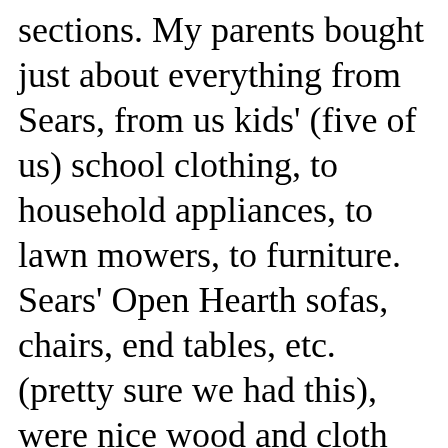sections. My parents bought just about everything from Sears, from us kids' (five of us) school clothing, to household appliances, to lawn mowers, to furniture. Sears' Open Hearth sofas, chairs, end tables, etc. (pretty sure we had this), were nice wood and cloth